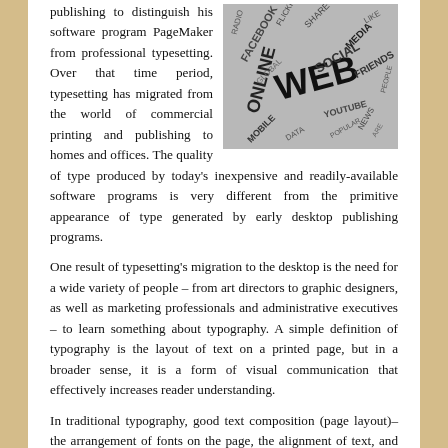publishing to distinguish his software program PageMaker from professional typesetting. Over that time period, typesetting has migrated from the world of commercial printing and publishing to homes and offices. The quality of type produced by today's inexpensive and readily-available software programs is very different from the primitive appearance of type generated by early desktop publishing programs.
[Figure (illustration): Word cloud image featuring social media and web-related terms such as WEB, FACEBOOK, SOCIAL, RADIO, MEDIA, DATA, FRIENDS, MOBILE, SHARE, LIKE, NEWS, etc. in black and white.]
One result of typesetting's migration to the desktop is the need for a wide variety of people – from art directors to graphic designers, as well as marketing professionals and administrative executives – to learn something about typography. A simple definition of typography is the layout of text on a printed page, but in a broader sense, it is a form of visual communication that effectively increases reader understanding.
In traditional typography, good text composition (page layout)– the arrangement of fonts on the page, the alignment of text, and the manipulation of text, white